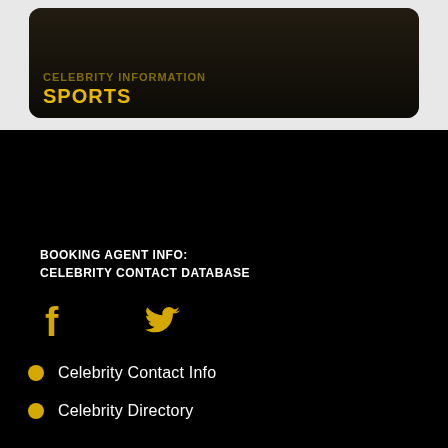[Figure (screenshot): Dark card with golden 'SPORTS' category label on a dark background image]
BOOKING AGENT INFO:
CELEBRITY CONTACT DATABASE
[Figure (other): Facebook and Twitter social media icons in golden/yellow color]
Celebrity Contact Info
Celebrity Directory